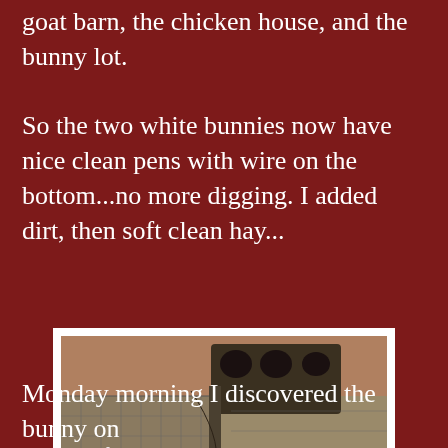goat barn, the chicken house, and the bunny lot.
So the two white bunnies now have nice clean pens with wire on the bottom...no more digging. I added dirt, then soft clean hay...
[Figure (photo): Two white bunnies in wire mesh pens with hay on the ground, inside what appears to be an outdoor enclosure with brick walls visible in the background.]
Monday morning I discovered the bunny on